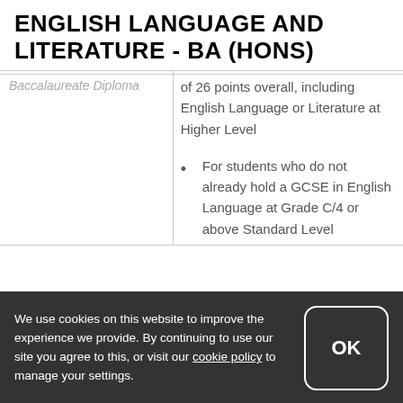ENGLISH LANGUAGE AND LITERATURE - BA (HONS)
Baccalaureate Diploma
of 26 points overall, including English Language or Literature at Higher Level
For students who do not already hold a GCSE in English Language at Grade C/4 or above Standard Level
We use cookies on this website to improve the experience we provide. By continuing to use our site you agree to this, or visit our cookie policy to manage your settings.